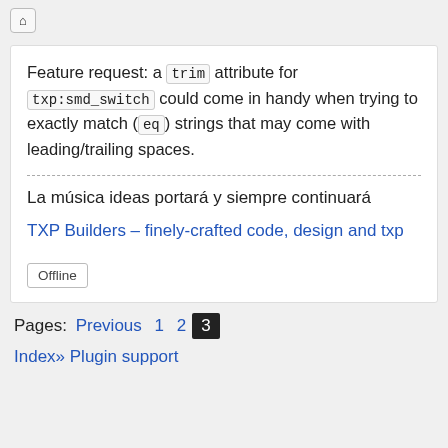[Figure (other): Home icon button (house symbol) in a rounded square button]
Feature request: a trim attribute for txp:smd_switch could come in handy when trying to exactly match (eq) strings that may come with leading/trailing spaces.
La música ideas portará y siempre continuará
TXP Builders – finely-crafted code, design and txp
Offline
Pages:  Previous  1  2  3
Index» Plugin support